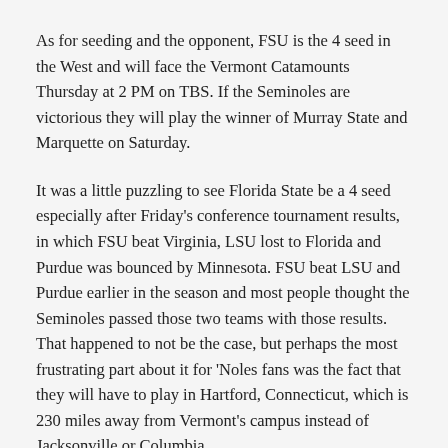As for seeding and the opponent, FSU is the 4 seed in the West and will face the Vermont Catamounts Thursday at 2 PM on TBS. If the Seminoles are victorious they will play the winner of Murray State and Marquette on Saturday.
It was a little puzzling to see Florida State be a 4 seed especially after Friday's conference tournament results, in which FSU beat Virginia, LSU lost to Florida and Purdue was bounced by Minnesota. FSU beat LSU and Purdue earlier in the season and most people thought the Seminoles passed those two teams with those results. That happened to not be the case, but perhaps the most frustrating part about it for 'Noles fans was the fact that they will have to play in Hartford, Connecticut, which is 230 miles away from Vermont's campus instead of Jacksonville or Columbia.
If the Seminoles play as well as they did against Virginia in the ACC tournament it won't matter when and where the games are as FSU would win by double digits.